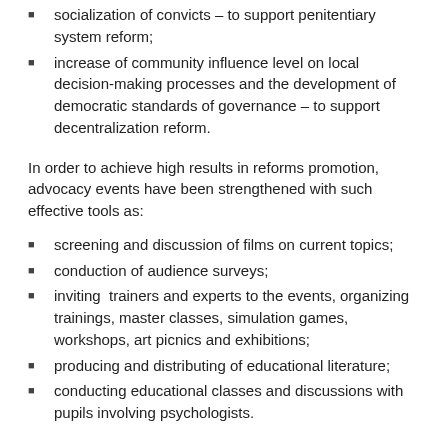socialization of convicts – to support penitentiary system reform;
increase of community influence level on local decision-making processes and the development of democratic standards of governance – to support decentralization reform.
In order to achieve high results in reforms promotion, advocacy events have been strengthened with such effective tools as:
screening and discussion of films on current topics;
conduction of audience surveys;
inviting trainers and experts to the events, organizing trainings, master classes, simulation games, workshops, art picnics and exhibitions;
producing and distributing of educational literature;
conducting educational classes and discussions with pupils involving psychologists.